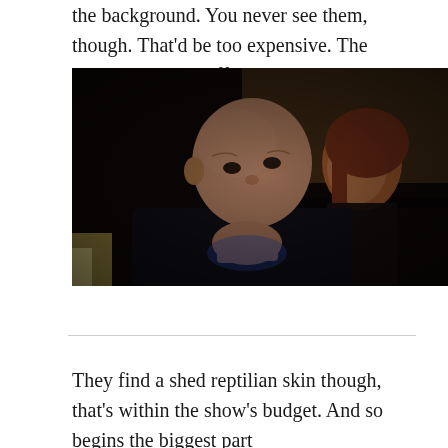the background. You never see them, though. That'd be too expensive. The show can barely afford a cat.
[Figure (photo): Two figures in a dark scene — a bald older man in the foreground looking up to the left, and a person with reddish-brown hair visible behind him. Dark dramatic lighting.]
They find a shed reptilian skin though, that's within the show's budget. And so begins the biggest part